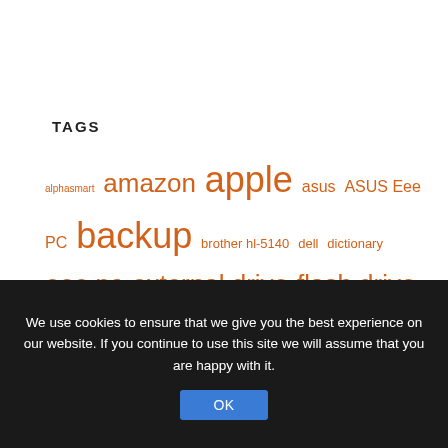TAGS
[Figure (infographic): Tag cloud with orange words of varying sizes representing blog/website tags: alphasmart, amazon, apple, asus, ASUS Eee PC, backup, brother hl-5140, dell, dictionary, eee pc, external drive, flash drive, Gadgets, gadgets for writers, ipad, kindle, laptop, Linux, ms word, Netbooks, novel, open office, PC, plastic logic reader, poetry, printer, review, SanDisk, SanDisk Cruzer, screenplay, security, short story, smart drive, Software, Surf, thesaurus, the]
We use cookies to ensure that we give you the best experience on our website. If you continue to use this site we will assume that you are happy with it.